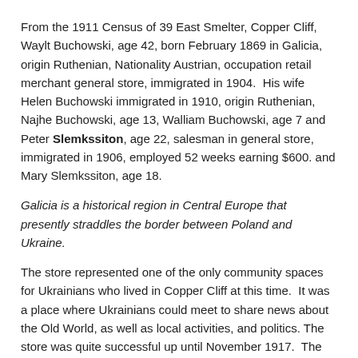From the 1911 Census of 39 East Smelter, Copper Cliff, Waylt Buchowski, age 42, born February 1869 in Galicia, origin Ruthenian, Nationality Austrian, occupation retail merchant general store, immigrated in 1904.  His wife Helen Buchowski immigrated in 1910, origin Ruthenian, Najhe Buchowski, age 13, Walliam Buchowski, age 7 and Peter Slemkssiton, age 22, salesman in general store, immigrated in 1906, employed 52 weeks earning $600. and Mary Slemkssiton, age 18.
Galicia is a historical region in Central Europe that presently straddles the border between Poland and Ukraine.
The store represented one of the only community spaces for Ukrainians who lived in Copper Cliff at this time.  It was a place where Ukrainians could meet to share news about the Old World, as well as local activities, and politics. The store was quite successful up until November 1917.  The business found itself in a serious crisis because of the enemy alien wartime measures.  By extending credit to the wives of those who were jobless or interned because of their enemy alien status, the store came close to going bankrupt before it was